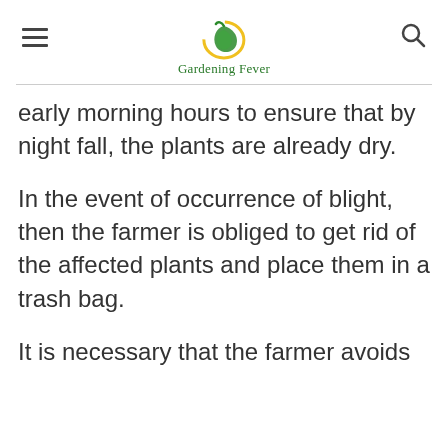Gardening Fever
early morning hours to ensure that by night fall, the plants are already dry.
In the event of occurrence of blight, then the farmer is obliged to get rid of the affected plants and place them in a trash bag.
It is necessary that the farmer avoids